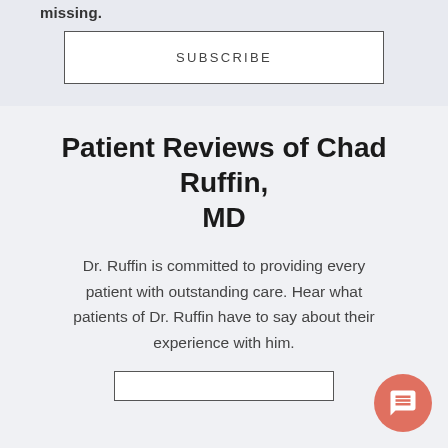missing.
SUBSCRIBE
Patient Reviews of Chad Ruffin, MD
Dr. Ruffin is committed to providing every patient with outstanding care. Hear what patients of Dr. Ruffin have to say about their experience with him.